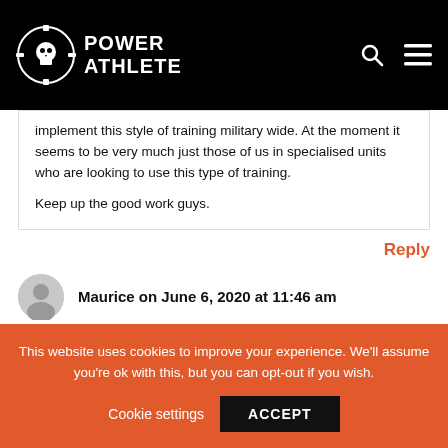Power Athlete — website header with logo, search icon, and menu icon
implement this style of training military wide. At the moment it seems to be very much just those of us in specialised units who are looking to use this type of training.

Keep up the good work guys.
Reply
Maurice on June 6, 2020 at 11:46 am
I am in de 2nd cycle of hamr now. For me I feel it is the right program. Everything is in there for me. I love running,
This website uses cookies to improve your experience. We'll assume you're ok with this, but you can opt-out if you wish.
Cookie settings  ACCEPT